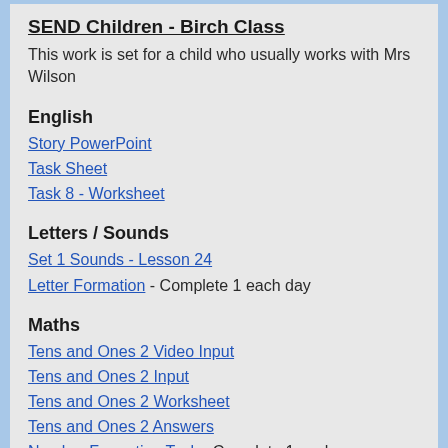SEND Children -  Birch Class
This work is set for a child who usually works with Mrs Wilson
English
Story PowerPoint
Task Sheet
Task 8 - Worksheet
Letters / Sounds
Set 1 Sounds - Lesson 24
Letter Formation - Complete 1 each day
Maths
Tens and Ones 2 Video Input
Tens and Ones 2 Input
Tens and Ones 2  Worksheet
Tens and Ones 2 Answers
Number Formation Task - Complete 1 each